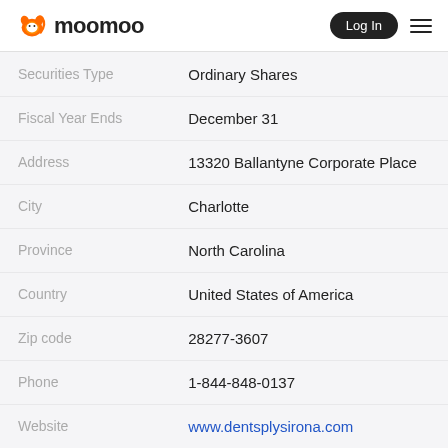moomoo | Log In
| Field | Value |
| --- | --- |
| Securities Type | Ordinary Shares |
| Fiscal Year Ends | December 31 |
| Address | 13320 Ballantyne Corporate Place |
| City | Charlotte |
| Province | North Carolina |
| Country | United States of America |
| Zip code | 28277-3607 |
| Phone | 1-844-848-0137 |
| Website | www.dentsplysirona.com |
| Profile | DENTSPLY SIRONA Inc. manufactures and sells various |